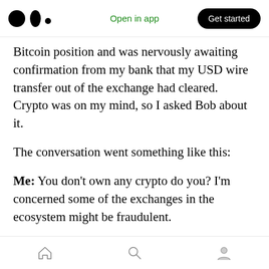Open in app | Get started
Bitcoin position and was nervously awaiting confirmation from my bank that my USD wire transfer out of the exchange had cleared. Crypto was on my mind, so I asked Bob about it.
The conversation went something like this:
Me: You don’t own any crypto do you? I’m concerned some of the exchanges in the ecosystem might be fraudulent.
Bob: I actually have a whole bunch of crypto on this exchange called Bybit. Do you know if that’s
Home | Search | Profile